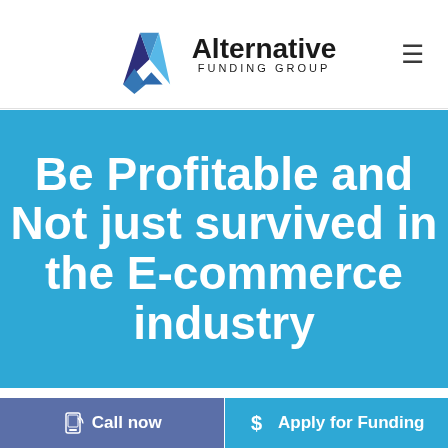[Figure (logo): Alternative Funding Group logo with blue diamond/triangle shapes and company name]
Be Profitable and Not just survived in the E-commerce industry
Call now
Apply for Funding